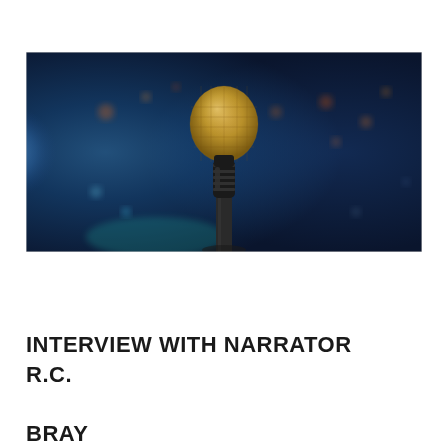[Figure (photo): A golden microphone on a stand in front of a blurred blue background with bokeh lights and a crowd, suggesting a performance or interview setting.]
INTERVIEW WITH NARRATOR R.C. BRAY